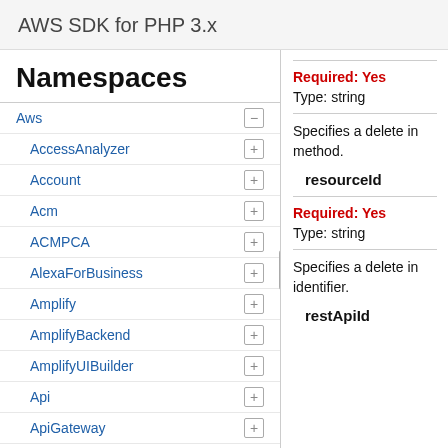AWS SDK for PHP 3.x
Namespaces
Aws
AccessAnalyzer
Account
Acm
ACMPCA
AlexaForBusiness
Amplify
AmplifyBackend
AmplifyUIBuilder
Api
ApiGateway
ApiGatewayManagementApi
Required: Yes
Type: string
Specifies a delete in method.
resourceId
Required: Yes
Type: string
Specifies a delete in identifier.
restApiId